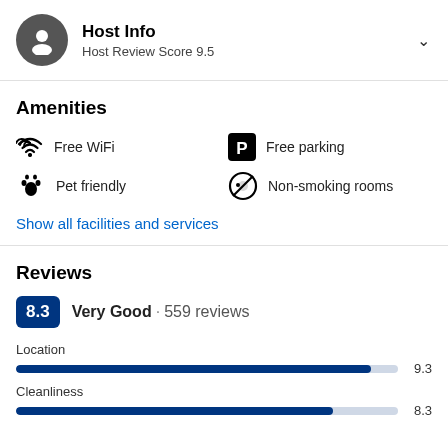Host Info
Host Review Score 9.5
Amenities
Free WiFi
Free parking
Pet friendly
Non-smoking rooms
Show all facilities and services
Reviews
8.3 Very Good · 559 reviews
Location 9.3
Cleanliness 8.3